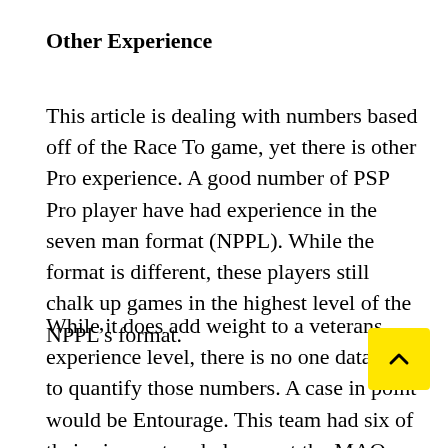Other Experience
This article is dealing with numbers based off of the Race To game, yet there is other Pro experience. A good number of PSP Pro player have had experience in the seven man format (NPPL). While the format is different, these players still chalk up games in the highest level of the NPPL’s format.
While it does add weight to a veterans experience level, there is no one database to quantify those numbers. A case in point would be Entourage. This team had six of their nine rostered players at the MAQ who were 21